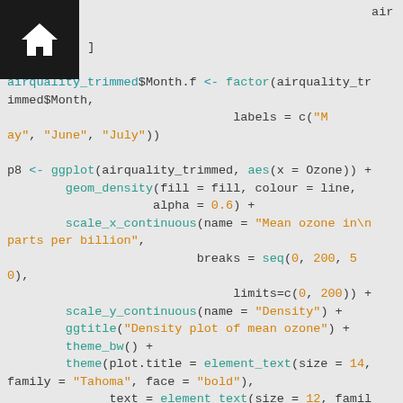R code snippet showing airquality data manipulation and ggplot2 density plot configuration with facet_grid